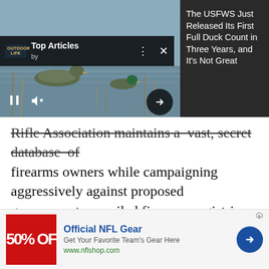[Figure (screenshot): Video player overlay showing ducks on water with Top Articles banner. Controls visible: pause button, mute button, arrow button.]
The USFWS Just Released Its First Full Duck Count in Three Years, and It's Not Great
Rifle Association maintains a vast, secret database of firearms owners while campaigning aggressively against proposed government-compiled firearms registries has not generated the outrage among gun owners that gun control proponents hoped it would.
[Figure (photo): Blurred outdoor nature photo, warm golden tones, appears to show reeds or grasses near water.]
Official NFL Gear
Get Your Favorite Team's Gear Here
www.nflshop.com